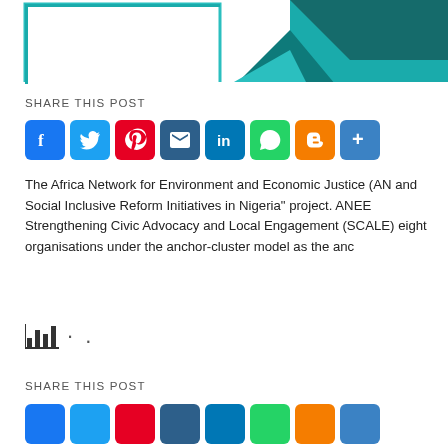[Figure (illustration): Partial header image with teal/dark blue geometric shapes and design elements, cropped at top of page]
SHARE THIS POST
[Figure (infographic): Social sharing icons row: Facebook (blue), Twitter (light blue), Pinterest (red), Email (dark blue), LinkedIn (blue), WhatsApp (green), Blogger (orange), Share/More (blue)]
The Africa Network for Environment and Economic Justice (AN... and Social Inclusive Reform Initiatives in Nigeria" project. ANEE... Strengthening Civic Advocacy and Local Engagement (SCALE)... eight organisations under the anchor-cluster model as the anc...
[Figure (infographic): Small bar chart icon followed by loading dots, indicating a loading chart widget]
SHARE THIS POST
[Figure (infographic): Second row of social sharing icons partially visible at bottom: Facebook, Twitter, Pinterest, Email, LinkedIn, WhatsApp, Blogger, Share]